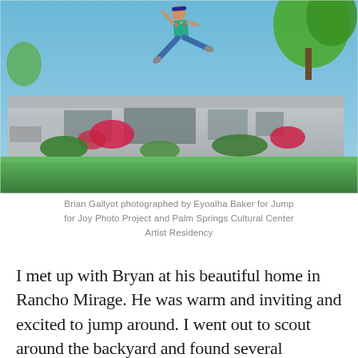[Figure (photo): A man (Brian Gallyot) jumping high in the air in a dynamic split-leg pose, wearing a colorful floral shirt and jeans, photographed in front of a modern flat-roofed home with green lawn, bougainvillea flowers, and trees against a blue sky.]
Brian Gallyot photographed by Eyoalha Baker for Jump for Joy Photo Project and Palm Springs Cultural Center Artist Residency
I met up with Bryan at his beautiful home in Rancho Mirage. He was warm and inviting and excited to jump around. I went out to scout around the backyard and found several beautiful spots for him to jump on. The